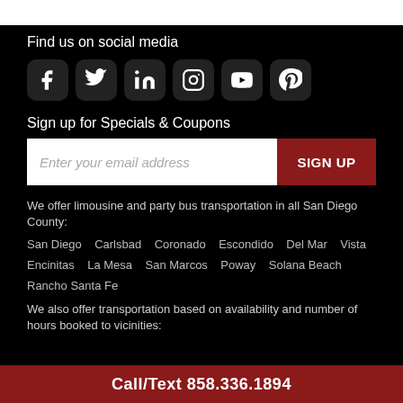Find us on social media
[Figure (infographic): Row of six social media icons: Facebook, Twitter, LinkedIn, Instagram, YouTube, Pinterest — white icons on dark rounded-square backgrounds]
Sign up for Specials & Coupons
Enter your email address [SIGN UP button]
We offer limousine and party bus transportation in all San Diego County:
San Diego   Carlsbad   Coronado   Escondido   Del Mar   Vista
Encinitas   La Mesa   San Marcos   Poway   Solana Beach
Rancho Santa Fe
We also offer transportation based on availability and number of hours booked to vicinities:
Call/Text 858.336.1894